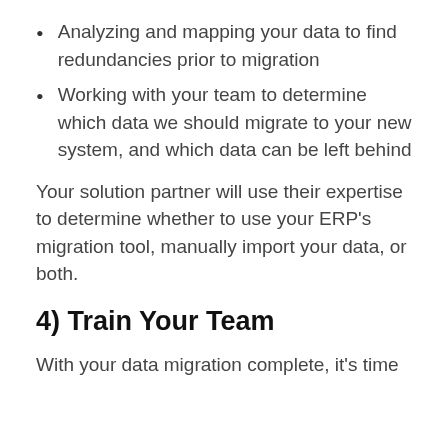Analyzing and mapping your data to find redundancies prior to migration
Working with your team to determine which data we should migrate to your new system, and which data can be left behind
Your solution partner will use their expertise to determine whether to use your ERP's migration tool, manually import your data, or both.
4) Train Your Team
With your data migration complete, it's time